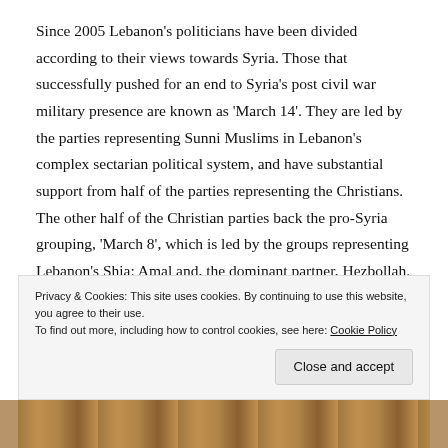Since 2005 Lebanon's politicians have been divided according to their views towards Syria. Those that successfully pushed for an end to Syria's post civil war military presence are known as 'March 14'. They are led by the parties representing Sunni Muslims in Lebanon's complex sectarian political system, and have substantial support from half of the parties representing the Christians. The other half of the Christian parties back the pro-Syria grouping, 'March 8', which is led by the groups representing Lebanon's Shia: Amal and, the dominant partner, Hezbollah. The Druze leader, Walid
Privacy & Cookies: This site uses cookies. By continuing to use this website, you agree to their use.
To find out more, including how to control cookies, see here: Cookie Policy
Close and accept
[Figure (photo): Partial photograph visible at the bottom of the page, appears to show an outdoor or historical scene with warm brown tones.]